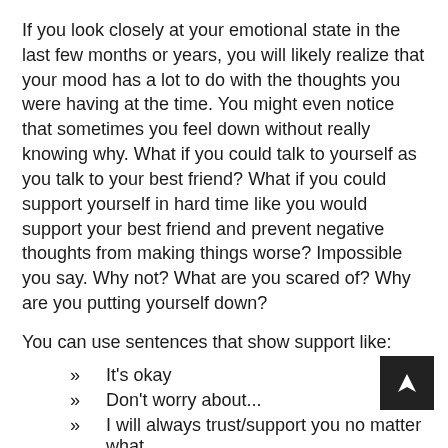If you look closely at your emotional state in the last few months or years, you will likely realize that your mood has a lot to do with the thoughts you were having at the time. You might even notice that sometimes you feel down without really knowing why. What if you could talk to yourself as you talk to your best friend? What if you could support yourself in hard time like you would support your best friend and prevent negative thoughts from making things worse? Impossible you say. Why not? What are you scared of? Why are you putting yourself down?
You can use sentences that show support like:
It's okay
Don't worry about...
I will always trust/support you no matter what